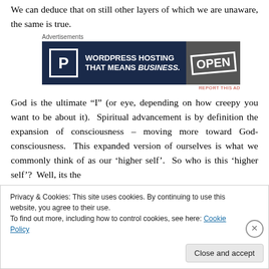We can deduce that on still other layers of which we are unaware, the same is true.
[Figure (screenshot): Advertisement banner for WordPress Hosting with text 'WORDPRESS HOSTING THAT MEANS BUSINESS.' and an OPEN sign image on the right]
God is the ultimate “I” (or eye, depending on how creepy you want to be about it). Spiritual advancement is by definition the expansion of consciousness – moving more toward God-consciousness. This expanded version of ourselves is what we commonly think of as our ‘higher self’. So who is this ‘higher self’? Well, its the
Privacy & Cookies: This site uses cookies. By continuing to use this website, you agree to their use.
To find out more, including how to control cookies, see here: Cookie Policy